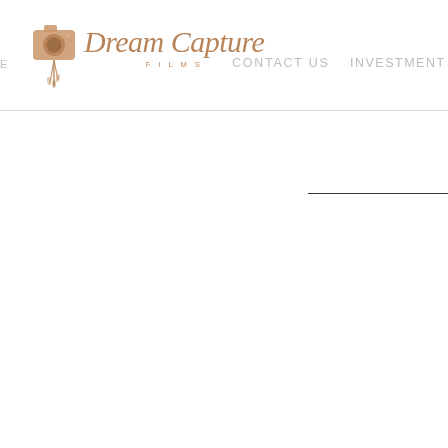Dream Capture Films — CONTACT US   INVESTMENT
[Figure (logo): Dream Capture Films logo with stylized camera icon and script text]